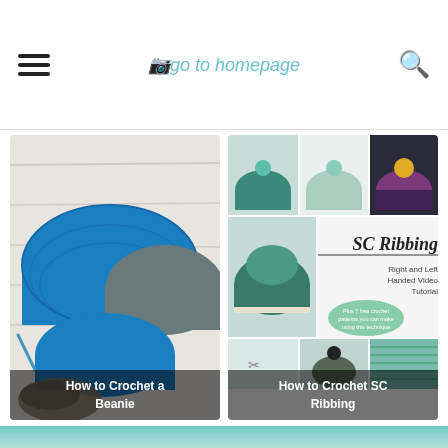go to homepage
[Figure (photo): Blue and gray crocheted beanies laid flat on a white wooden surface with a faux fur pom pom]
How to Crochet a Beanie
[Figure (photo): Collage of SC Ribbing crochet hats in teal, green and purple with pom poms; text reads: SC Ribbing Right and Left Handed Video Tutorial Plus 7 free crochet patterns you can make using this technique]
How to Crochet SC Ribbing